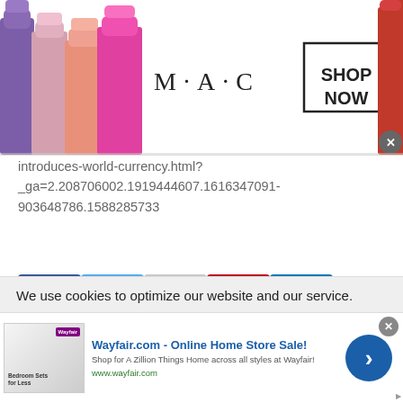[Figure (screenshot): MAC Cosmetics advertisement banner with lipsticks, MAC logo, and SHOP NOW button with a close (X) button]
introduces-world-currency.html?_ga=2.208706002.1919444607.1616347091-903648786.1588285733
[Figure (screenshot): Social media sharing icons: Facebook, Twitter, Reddit, Pinterest, LinkedIn, and Email]
We use cookies to optimize our website and our service.
[Figure (screenshot): Wayfair.com advertisement: Online Home Store Sale! Shop for A Zillion Things Home across all styles at Wayfair! www.wayfair.com, with bedroom image thumbnail, close button, and right arrow button]